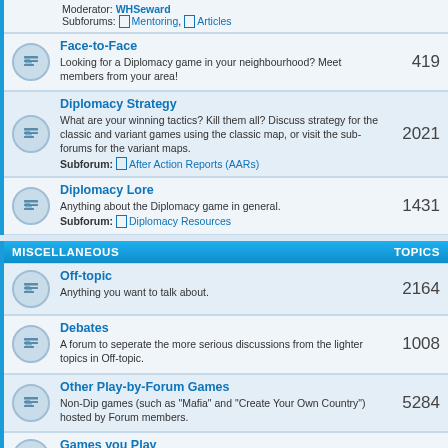Moderator: WHSeward
Subforums: Mentoring, Articles
Face-to-Face | 419
Face-to-Face
Looking for a Diplomacy game in your neighbourhood? Meet members from your area!
419
Diplomacy Strategy
What are your winning tactics? Kill them all? Discuss strategy for the classic and variant games using the classic map, or visit the sub-forums for the variant maps.
Subforum: After Action Reports (AARs)
2021
Diplomacy Lore
Anything about the Diplomacy game in general.
Subforum: Diplomacy Resources
1431
MISCELLANEOUS | TOPICS
Off-topic
Anything you want to talk about.
2164
Debates
A forum to seperate the more serious discussions from the lighter topics in Off-topic.
1008
Other Play-by-Forum Games
Non-Dip games (such as "Mafia" and "Create Your Own Country") hosted by Forum members.
5284
Games you Play
Discussion about any other games you are playing, online or offline.
411
Offsite Games & Tournaments
Recruitment for and discussion of online Dip games/tournaments that aren't run on the PlayDiplomacy website or as part of the PbF community.
44